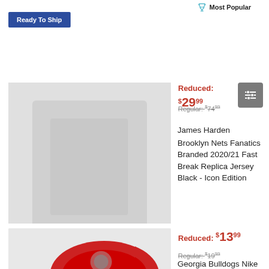Most Popular
Ready To Ship
Reduced: $29.99
Regular: $74.99
James Harden Brooklyn Nets Fanatics Branded 2020/21 Fast Break Replica Jersey Black - Icon Edition
[Figure (photo): Product image placeholder blurred]
Ready To Ship
Most Popular
Reduced: $13.99
Regular: $19.99
Georgia Bulldogs Nike Sideline Performance